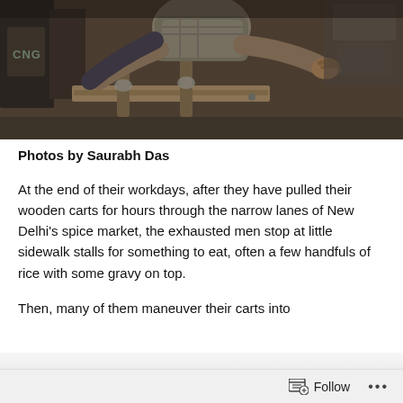[Figure (photo): A man pulling a wooden cart, photographed from above, in an industrial or market setting. Dark, muted tones with wooden cart handles visible.]
Photos by Saurabh Das
At the end of their workdays, after they have pulled their wooden carts for hours through the narrow lanes of New Delhi's spice market, the exhausted men stop at little sidewalk stalls for something to eat, often a few handfuls of rice with some gravy on top.
Then, many of them maneuver their carts into